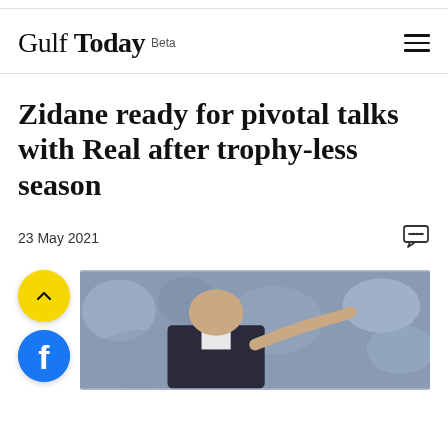Gulf Today Beta
Zidane ready for pivotal talks with Real after trophy-less season
23 May 2021
[Figure (photo): Photo of Zinedine Zidane gesturing/pointing, bald head visible, blurred crowd background]